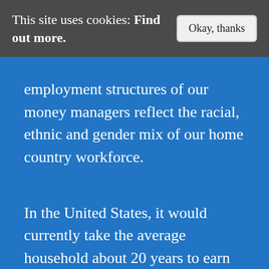This site uses cookies: Find out more. Okay, thanks
employment structures of our money managers reflect the racial, ethnic and gender mix of our home country workforce.
In the United States, it would currently take the average household about 20 years to earn $1 million dollars. Some money managers make in one year what the